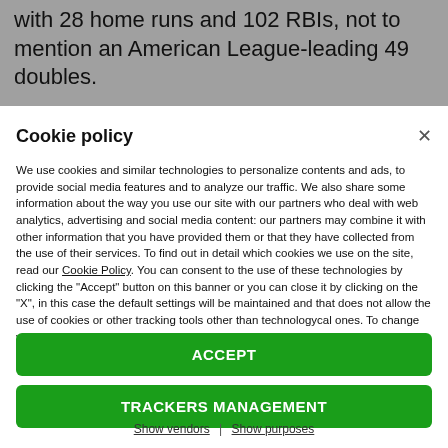with 28 home runs and 102 RBIs, not to mention an American League-leading 49 doubles.
Cookie policy
We use cookies and similar technologies to personalize contents and ads, to provide social media features and to analyze our traffic. We also share some information about the way you use our site with our partners who deal with web analytics, advertising and social media content: our partners may combine it with other information that you have provided them or that they have collected from the use of their services. To find out in detail which cookies we use on the site, read our Cookie Policy. You can consent to the use of these technologies by clicking the "Accept" button on this banner or you can close it by clicking on the "X", in this case the default settings will be maintained and that does not allow the use of cookies or other tracking tools other than technologycal ones. To change your choices at any time, click on “Tracking Management.”
ACCEPT
TRACKERS MANAGEMENT
Show vendors | Show purposes